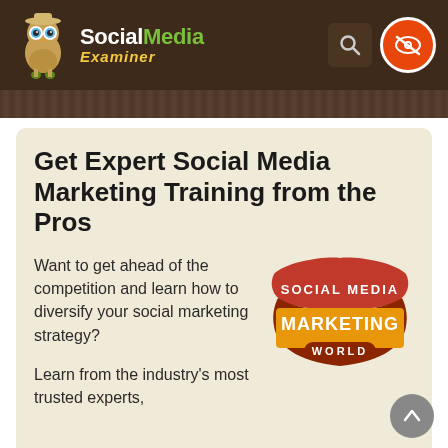Social Media Examiner
Get Expert Social Media Marketing Training from the Pros
Want to get ahead of the competition and learn how to diversify your social marketing strategy?
[Figure (logo): Social Media Marketing World badge/logo with decorative text]
Learn from the industry's most trusted experts,